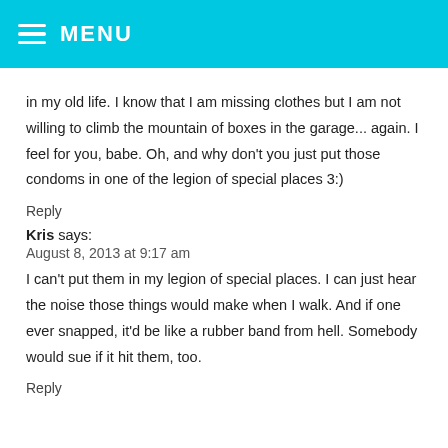MENU
in my old life. I know that I am missing clothes but I am not willing to climb the mountain of boxes in the garage... again. I feel for you, babe. Oh, and why don't you just put those condoms in one of the legion of special places 3:)
Reply
Kris says:
August 8, 2013 at 9:17 am
I can't put them in my legion of special places. I can just hear the noise those things would make when I walk. And if one ever snapped, it'd be like a rubber band from hell. Somebody would sue if it hit them, too.
Reply